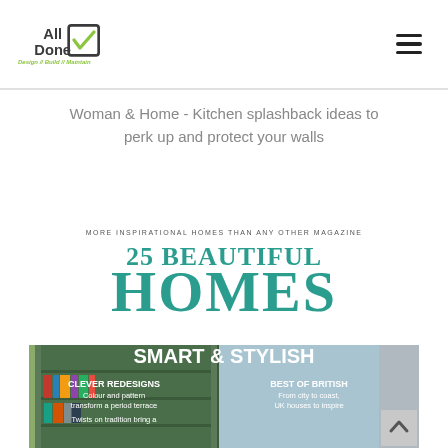All Done — Design // Build // Maintain
Woman & Home - Kitchen splashback ideas to perk up and protect your walls
[Figure (photo): Screenshot of a '25 Beautiful Homes' magazine cover featuring teal/green typography with text 'MORE INSPIRATIONAL HOMES THAN ANY OTHER MAGAZINE', large heading '25 BEAUTIFUL HOMES', 'SMART & STYLISH', 'CLEVER REDESIGNS - Colour and pattern transform a period terrace', 'Twists on tradition bring a', 'BEST OF BRITISH - From city to coast, UK houses to inspire'. Below is a photo of a room with green painted bookshelves.]